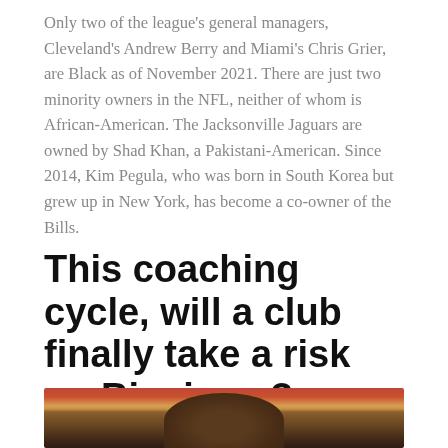Only two of the league's general managers, Cleveland's Andrew Berry and Miami's Chris Grier, are Black as of November 2021. There are just two minority owners in the NFL, neither of whom is African-American. The Jacksonville Jaguars are owned by Shad Khan, a Pakistani-American. Since 2014, Kim Pegula, who was born in South Korea but grew up in New York, has become a co-owner of the Bills.
This coaching cycle, will a club finally take a risk on Bieniemy?
[Figure (photo): Close-up photo of a man's face against a colorful blurred background with red, yellow, and other colors visible]